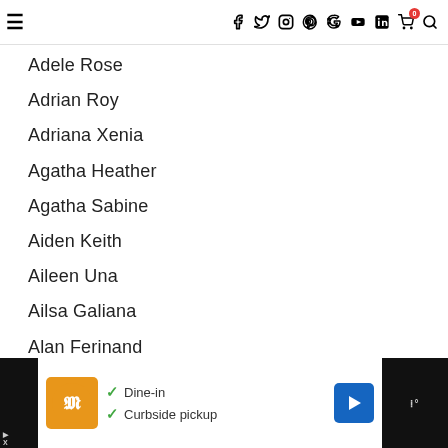☰ f ✓ ⊕ ○ G+ ▶ in 🛒0 🔍
Adele Rose
Adrian Roy
Adriana Xenia
Agatha Heather
Agatha Sabine
Aiden Keith
Aileen Una
Ailsa Galiana
Alan Ferinand
Albert Smith
Alden Reuben
Aldo Archibald
[Figure (screenshot): Advertisement bar at bottom: restaurant logo, Dine-in and Curbside pickup options with checkmarks, blue arrow icon, dark background on sides]